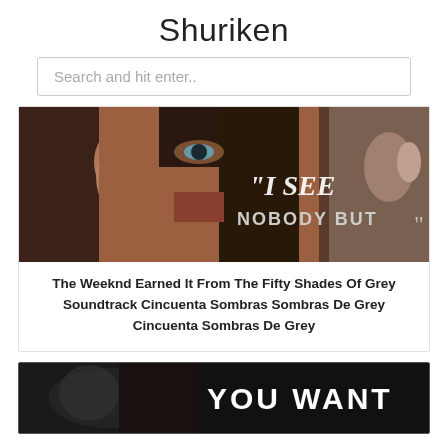Shuriken
Search and hit enter..
[Figure (photo): Movie still from Fifty Shades of Grey showing a close-up of a woman's face with a man's finger near her lips. Overlaid text reads: "I SEE NOBODY BUT..."]
The Weeknd Earned It From The Fifty Shades Of Grey Soundtrack Cincuenta Sombras Sombras De Grey Cincuenta Sombras De Grey
[Figure (photo): Dark movie still in black and white showing a figure and text: YOU WANT]